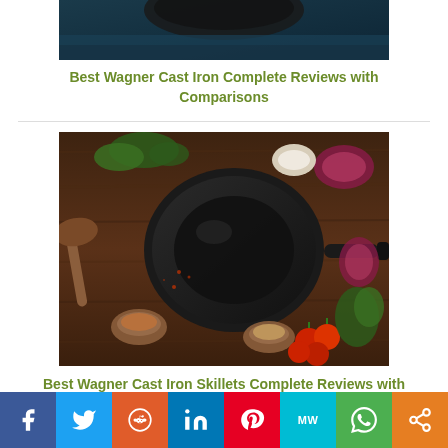[Figure (photo): Cast iron cookware on dark blue background, partially cropped at top]
Best Wagner Cast Iron Complete Reviews with Comparisons
[Figure (photo): Black cast iron skillet surrounded by fresh vegetables, herbs, tomatoes, onions, garlic and spices on wooden background]
Best Wagner Cast Iron Skillets Complete Reviews with Comparisons